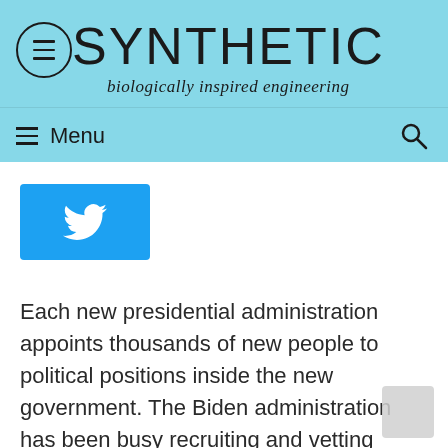SYNTHETIC
biologically inspired engineering
[Figure (other): Twitter share button — cyan bird icon on blue background]
Each new presidential administration appoints thousands of new people to political positions inside the new government. The Biden administration has been busy recruiting and vetting candidates for various positions, some of which will advise the president on matters